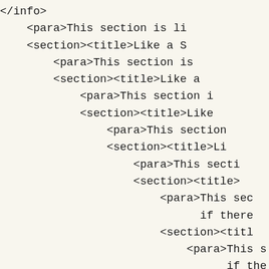</info>
    <para>This section is li
    <section><title>Like a S
        <para>This section is
        <section><title>Like a
            <para>This section i
            <section><title>Like
                <para>This section
                <section><title>Li
                    <para>This secti
                    <section><title>
                        <para>This sec
                              if there
                        <section><titl
                            <para>This s
                                  if the
                        </section>
                    </section>